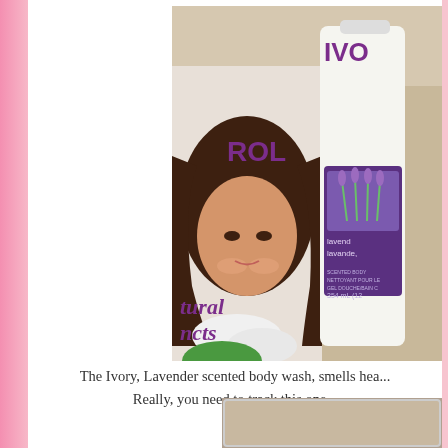[Figure (photo): Photo of hair care and body wash products including Clairol Natural Instincts and Ivory lavender scented body wash, with a woman smiling in background]
The Ivory, Lavender scented body wash, smells hea... Really, you need to track this one...
[Figure (photo): Partial photo visible at bottom right of page]